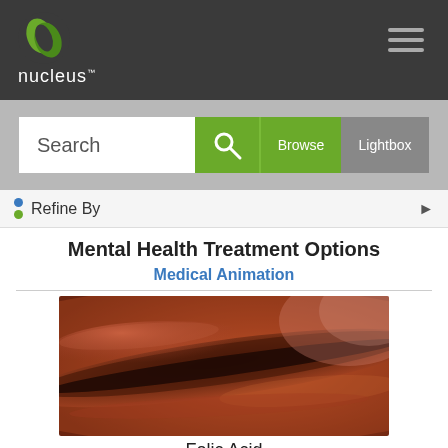nucleus
Search
Browse  Lightbox
Refine By
Mental Health Treatment Options
Medical Animation
[Figure (photo): Close-up medical/biological image showing textured reddish-orange tissue, possibly a blood vessel or organ structure, used for Folic Acid topic]
Folic Acid